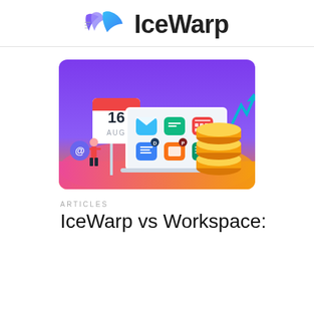IceWarp
[Figure (illustration): IceWarp marketing illustration: purple-to-orange gradient background, calendar showing 16 AUG, laptop with app icons (mail, chat, calendar, docs, presentation, spreadsheet), stacked gold coins with upward arrow, person holding @ symbol]
ARTICLES
IceWarp vs Workspace: